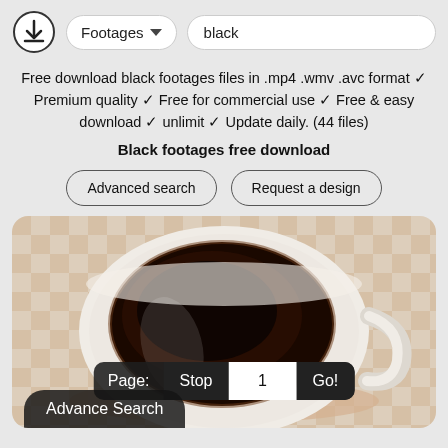[Figure (screenshot): Header bar with a download icon, a 'Footages' dropdown button, and a 'black' search input field]
Free download black footages files in .mp4 .wmv .avc format ✓ Premium quality ✓ Free for commercial use ✓ Free & easy download ✓ unlimit ✓ Update daily. (44 files)
Black footages free download
Advanced search   Request a design
[Figure (photo): Close-up photo of a white cup filled with black coffee, on a checkered tablecloth background. A pagination bar shows: Page: Stop 1 Go! and an Advance Search button at bottom left.]